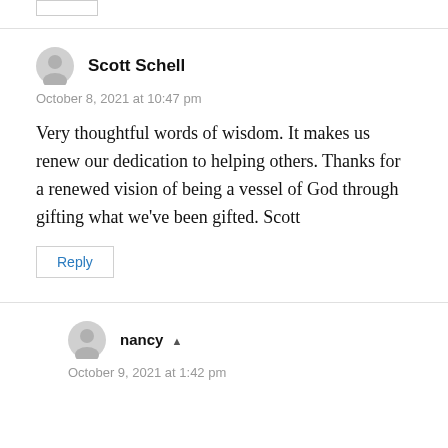Scott Schell
October 8, 2021 at 10:47 pm
Very thoughtful words of wisdom. It makes us renew our dedication to helping others. Thanks for a renewed vision of being a vessel of God through gifting what we’ve been gifted. Scott
Reply
nancy
October 9, 2021 at 1:42 pm